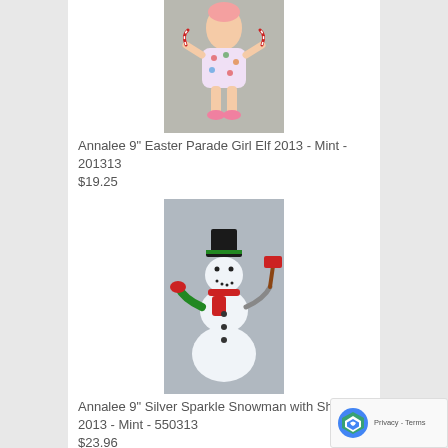[Figure (photo): Annalee Easter Parade Girl Elf figurine - doll wearing floral dress with pink shoes]
Annalee 9" Easter Parade Girl Elf 2013 - Mint - 201313
$19.25
[Figure (photo): Annalee Silver Sparkle Snowman with Shovel figurine - snowman with black hat, red scarf, green gloves, holding red shovel]
Annalee 9" Silver Sparkle Snowman with Shovel 2013 - Mint - 550313
$23.96
[Figure (photo): Annalee Nutcracker Toy Soldier Elf figurine - elf in red hat and gold uniform on green base]
Annalee 9" Nutcracker Toy Soldier Elf 2013 - Mint - 650713